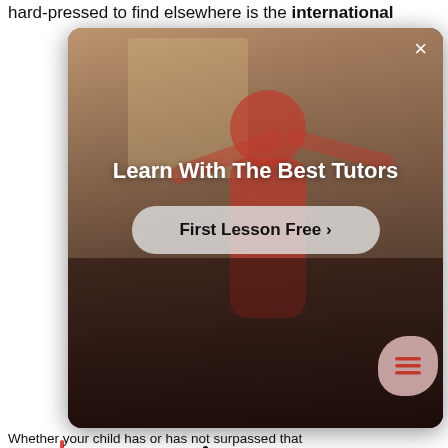hard-pressed to find elsewhere is the international
[Figure (screenshot): Advertisement overlay showing a person in a room with red shirt. Title: 'Learn With The Best Tutors'. Button: 'First Lesson Free ›'. Close button (×) in top-right corner.]
At one time or another, to varying degrees of fervency, every child dreams of running away to join the circus.
Whether your child has or has not surpassed that